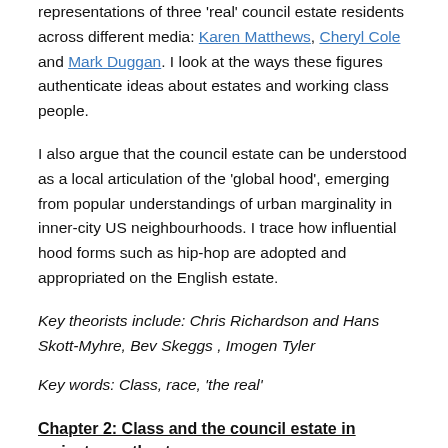representations of three 'real' council estate residents across different media: Karen Matthews, Cheryl Cole and Mark Duggan. I look at the ways these figures authenticate ideas about estates and working class people.
I also argue that the council estate can be understood as a local articulation of the 'global hood', emerging from popular understandings of urban marginality in inner-city US neighbourhoods. I trace how influential hood forms such as hip-hop are adopted and appropriated on the English estate.
Key theorists include: Chris Richardson and Hans Skott-Myhre, Bev Skeggs, Imogen Tyler
Key words: Class, race, 'the real'
Chapter 2: Class and the council estate in mainstream theatre